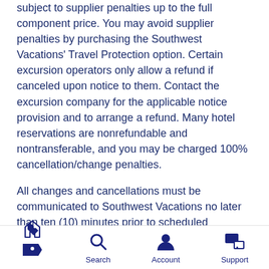subject to supplier penalties up to the full component price. You may avoid supplier penalties by purchasing the Southwest Vacations' Travel Protection option. Certain excursion operators only allow a refund if canceled upon notice to them. Contact the excursion company for the applicable notice provision and to arrange a refund. Many hotel reservations are nonrefundable and nontransferable, and you may be charged 100% cancellation/change penalties.
All changes and cancellations must be communicated to Southwest Vacations no later than ten (10) minutes prior to scheduled departure to allow time to process the change and avoid “No Show” forfeiture of your funds. Changes made within 24 hours of departure must be communicated through your travel agent or by calling Southwest Vacations at...
Deals  Search  Account  Support